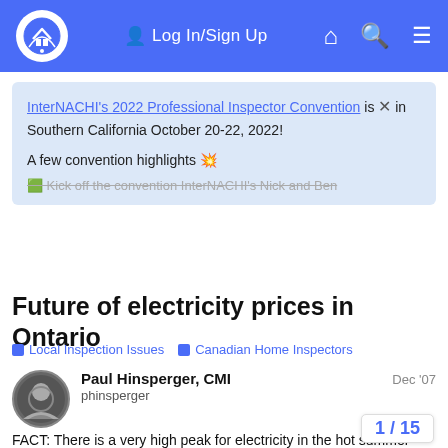InterNACHI — Log In/Sign Up
InterNACHI's 2022 Professional Inspector Convention is in Southern California October 20-22, 2022! A few convention highlights 💥 Kick off the convention InterNACHI's Nick and Ben...
Future of electricity prices in Ontario
Local Inspection Issues   Canadian Home Inspectors
Paul Hinsperger, CMI
phinsperger
Dec '07
FACT: There is a very high peak for electricity in the hot summer months (a/c)

FACT: This peak is so high that it puts an enormous demand to maintain generation an distribution...